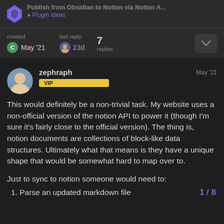Publish from Obsidian to Notion via Notion A... · Plugin Ideas
| created | last reply | replies |
| --- | --- | --- |
| May '21 | 23d | 7 |
zephraph May '21 VIP
This would definitely be a non-trivial task. My website uses a non-official version of the notion API to power it (though I'm sure it's fairly close to the official version). The thing is, notion documents are collections of block-like data structures. Ultimately what that means is they have a unique shape that would be somewhat hard to map over to.
Just to sync to notion someone would need to:
1. Parse an updated markdown file